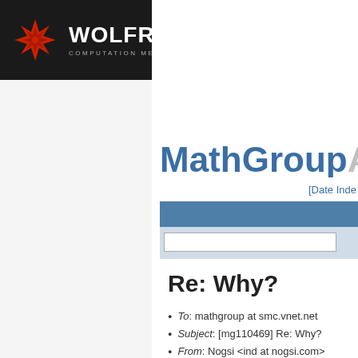[Figure (logo): Wolfram logo: red snowflake/star icon with WOLFRAM text and COMPUTATION MEETS KNOWLEDGE tagline on dark background]
Products & Services
MathGroupArch
[Date Inde
Re: Why?
To: mathgroup at smc.vnet.net
Subject: [mg110469] Re: Why?
From: Nogsi <ind at nogsi.com>